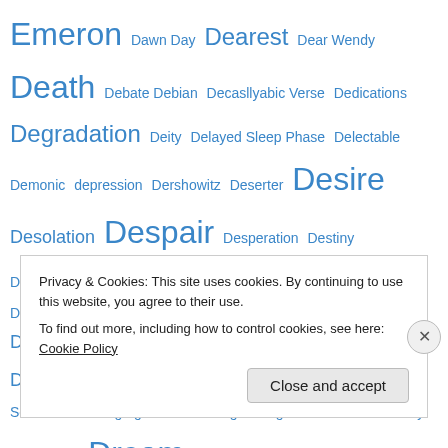Emeron Dawn Day Dearest Dear Wendy Death Debate Debian Decaslyabic Verse Dedications Degradation Deity Delayed Sleep Phase Delectable Demonic depression Dershowitz Deserter Desire Desolation Despair Desperation Destiny Destruction Devil Diamond Dichotomy Dictionaries Directories Discworld Disorders Distillation Distraction Dive Diver Divination Diving DNA Doctor Who Doctrine Domain name Domain Name System Dome Domenico Scarlatti Do not go gentle into that good night Door Dostoevsky Doubt draft Dream Dream Interpreters Dream Journals Dreams Dream Sharing Drink Drink to Me Only with Thine Eyes Drop-down list Drunk Duty Dylan Thomas Early Modern English Earth Earth Science East Australian Current ...
Privacy & Cookies: This site uses cookies. By continuing to use this website, you agree to their use. To find out more, including how to control cookies, see here: Cookie Policy